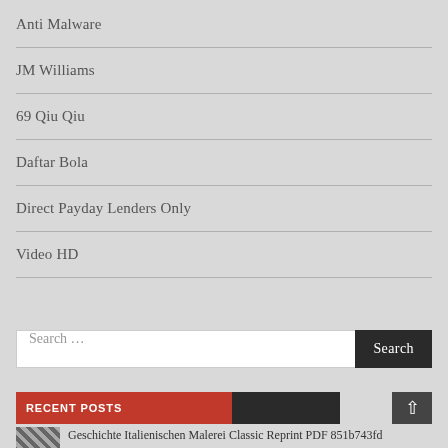Anti Malware
JM Williams
69 Qiu Qiu
Daftar Bola
Direct Payday Lenders Only
Video HD
Search ...
RECENT POSTS
Geschichte Italienischen Malerei Classic Reprint PDF 851b743fd